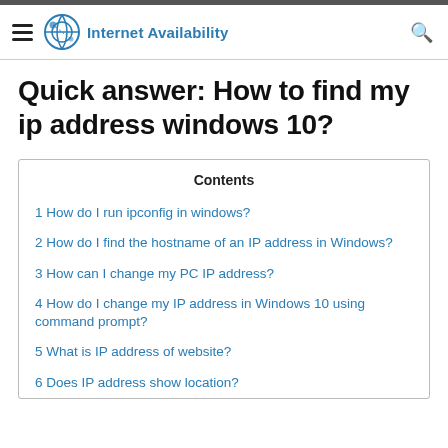Internet Availability
Quick answer: How to find my ip address windows 10?
| Contents |
| --- |
| 1 How do I run ipconfig in windows? |
| 2 How do I find the hostname of an IP address in Windows? |
| 3 How can I change my PC IP address? |
| 4 How do I change my IP address in Windows 10 using command prompt? |
| 5 What is IP address of website? |
| 6 Does IP address show location? |